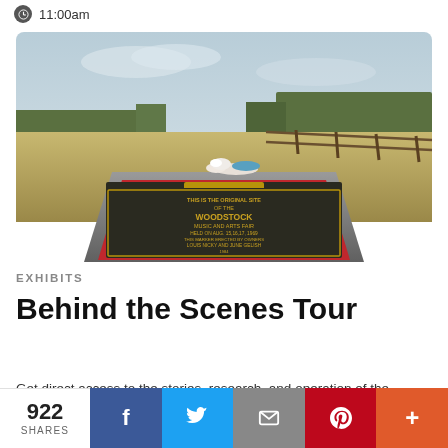11:00am
[Figure (photo): A commemorative Woodstock monument/marker with a bronze plaque reading 'THIS IS THE ORIGINAL SITE OF THE WOODSTOCK MUSIC AND ARTS FAIR HELD ON AUG. 15,16,17, 1969 THIS MARKER ERECTED BY OWNERS LOUIS NICKY AND JUNE GELISH', set on a gray concrete base with red panels and additional smaller plaques, with a dove figurine on top, against a rural background with fields, trees, and a wooden fence.]
EXHIBITS
Behind the Scenes Tour
Get direct access to the stories, research, and operation of the
922 SHARES